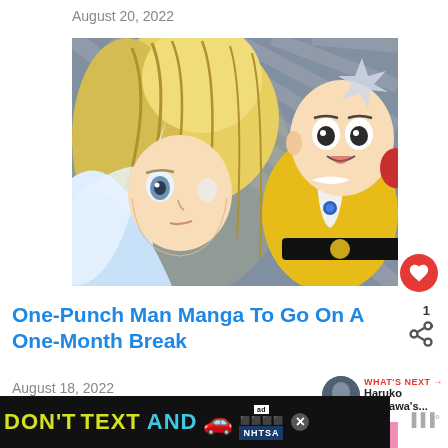August 20, 2022
[Figure (illustration): Anime illustration from One-Punch Man manga showing two characters: a blonde character in white costume on the left and Saitama in his yellow hero suit on the right, against a gray striped background]
One-Punch Man Manga To Go On A One-Month Break
August 18, 2022
[Figure (other): WHAT'S NEXT section showing a circular thumbnail and text: Haruko Ichikawa's...]
[Figure (other): Bottom partial image, partially cut off]
[Figure (other): Ad banner: DON'T TEXT AND [car emoji] with ad badge and NHTSA logo, with close X button]